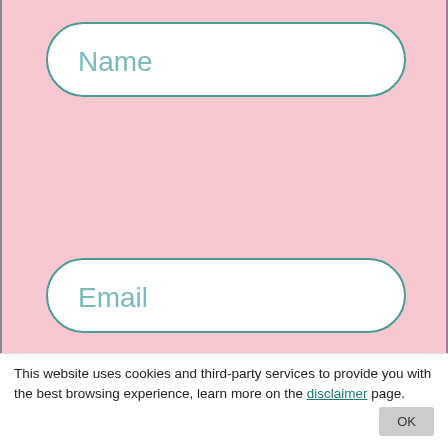[Figure (screenshot): Name input field — rounded rectangle text input on pink background]
[Figure (screenshot): Email input field — rounded rectangle text input on pink background]
[Figure (screenshot): Sign up today! button — large rounded dark teal button with italic white text]
Note: When you click the button, you agree to this sites privacy policy. You'll also get exclusive content and can unsubscribe any time
This website uses cookies and third-party services to provide you with the best browsing experience, learn more on the disclaimer page.